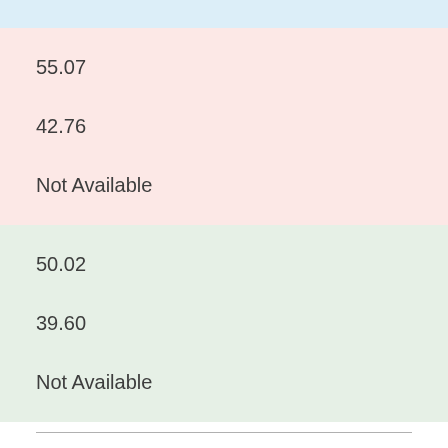55.07
42.76
Not Available
50.02
39.60
Not Available
Non-Recommended PSA-Based Screening in Older Men
2017.10 - 2018.09